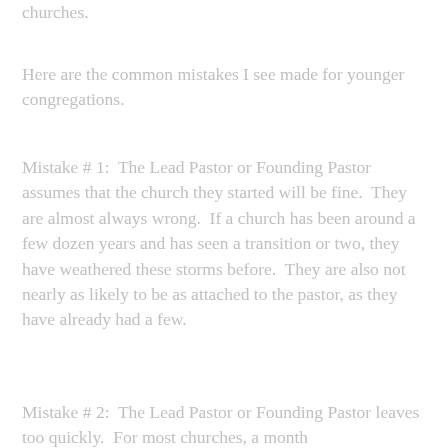churches.
Here are the common mistakes I see made for younger congregations.
Mistake # 1:  The Lead Pastor or Founding Pastor assumes that the church they started will be fine.  They are almost always wrong.  If a church has been around a few dozen years and has seen a transition or two, they have weathered these storms before.  They are also not nearly as likely to be as attached to the pastor, as they have already had a few.
Mistake # 2:  The Lead Pastor or Founding Pastor leaves too quickly.  For most churches, a month